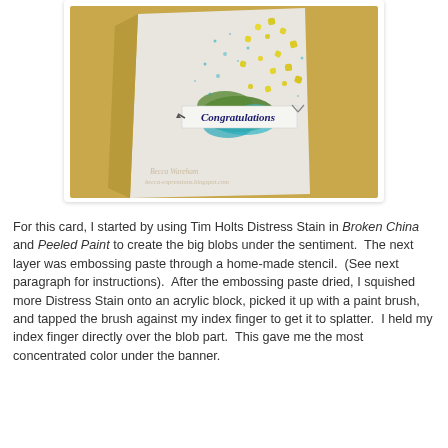[Figure (photo): A handmade congratulations card with yellow flowers/hearts scattered across a white card, with blue and green paint blobs in the center, and a 'Congratulations' banner across the middle. Watermark reads 'Becca Wareham becca-expressions.blogspot.com'. Card is propped up and photographed against a golden/yellow background.]
For this card, I started by using Tim Holts Distress Stain in Broken China and Peeled Paint to create the big blobs under the sentiment.  The next layer was embossing paste through a home-made stencil.  (See next paragraph for instructions).  After the embossing paste dried, I squished more Distress Stain onto an acrylic block, picked it up with a paint brush, and tapped the brush against my index finger to get it to splatter.  I held my index finger directly over the blob part.  This gave me the most concentrated color under the banner.